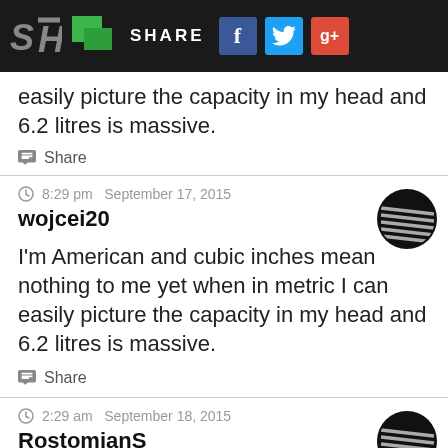[Figure (screenshot): Social sharing navigation bar with SH logo, green speech bubble icon, SHARE text, Facebook, Twitter, and Google+ buttons on dark background]
easily picture the capacity in my head and 6.2 litres is massive.
Share
8:29 pm  September 17, 2015
wojcei20
I'm American and cubic inches mean nothing to me yet when in metric I can easily picture the capacity in my head and 6.2 litres is massive.
Share
2:29 am  September 18, 2015
RostomianS